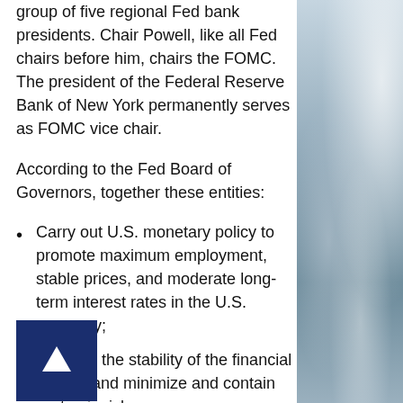group of five regional Fed bank presidents. Chair Powell, like all Fed chairs before him, chairs the FOMC. The president of the Federal Reserve Bank of New York permanently serves as FOMC vice chair.
According to the Fed Board of Governors, together these entities:
Carry out U.S. monetary policy to promote maximum employment, stable prices, and moderate long-term interest rates in the U.S. economy;
Promote the stability of the financial system and minimize and contain systemic risks;
[Figure (photo): Cloudy sky photo on the right side of the page]